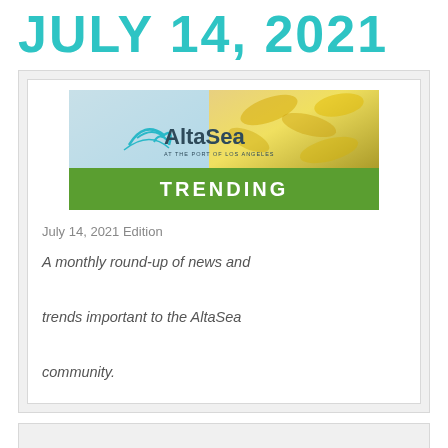JULY 14, 2021
[Figure (logo): AltaSea at the Port of Los Angeles logo with golden botanical background and green TRENDING banner]
July 14, 2021 Edition
A monthly round-up of news and trends important to the AltaSea community.